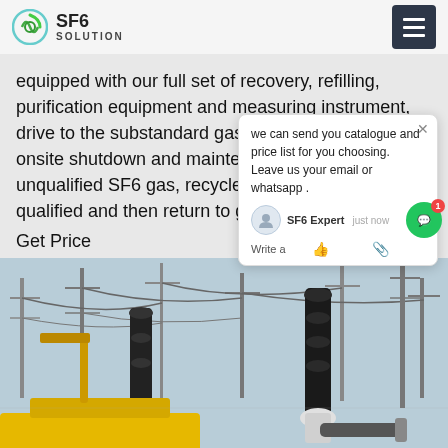SF6 SOLUTION
equipped with our full set of recovery, refilling, purification equipment and measuring instrument, drive to the substandard gas compartment, perform onsite shutdown and maintenance, recycle unqualified SF6 gas, recycle and purify to make qualified and then return to gas compartment.
Get Price
[Figure (screenshot): Chat popup overlay: 'we can send you catalogue and price list for you choosing. Leave us your email or whatsapp .' with SF6 Expert avatar and 'just now' timestamp, thumbs-up and paperclip icons, Write a... prompt]
[Figure (photo): Outdoor electrical substation with high-voltage equipment including insulators, cables, and transmission towers. A yellow crane/vehicle is visible in the foreground.]